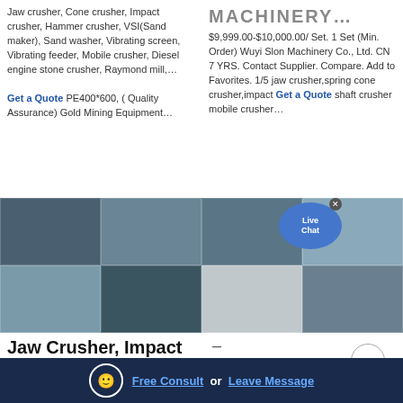Jaw crusher, Cone crusher, Impact crusher, Hammer crusher, VSI(Sand maker), Sand washer, Vibrating screen, Vibrating feeder, Mobile crusher, Diesel engine stone crusher, Raymond mill,…
Get a Quote PE400*600, ( Quality Assurance) Gold Mining Equipment…
MACHINERY…
$9,999.00-$10,000.00/ Set. 1 Set (Min. Order) Wuyi Slon Machinery Co., Ltd. CN 7 YRS. Contact Supplier. Compare. Add to Favorites. 1/5 jaw crusher,spring cone crusher,impact shaft crusher mobile crusher…
Get a Quote
[Figure (photo): Collage of 4 photos of mining/crushing machinery and equipment in outdoor industrial settings]
[Figure (photo): Collage of 4 photos of mining equipment and machinery including large industrial crushers outdoors]
[Figure (other): Live Chat bubble button overlay in blue circle]
Jaw Crusher, Impact Crusher
–
ISO Certificate Small Jaw Crusher Equipment Crushing Machine
2017-12-18 · . The relevant standard of crushing and screening plants GB/T
Free Consult  or  Leave Message